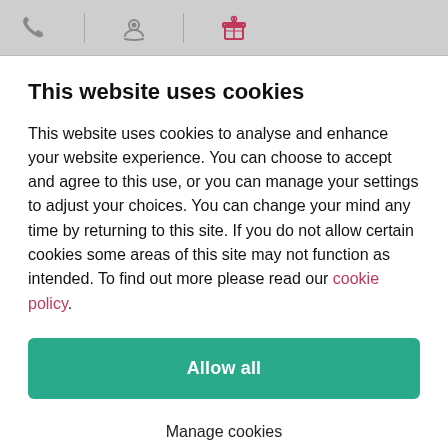[Navigation bar with phone, location, and gift icons]
This website uses cookies
This website uses cookies to analyse and enhance your website experience. You can choose to accept and agree to this use, or you can manage your settings to adjust your choices. You can change your mind any time by returning to this site. If you do not allow certain cookies some areas of this site may not function as intended. To find out more please read our cookie policy.
Allow all
Manage cookies